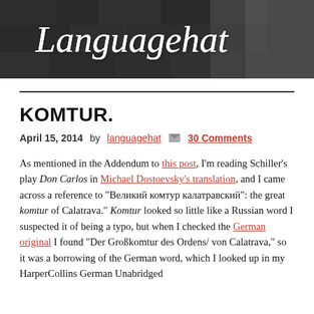[Figure (illustration): Languagehat blog banner with cursive white text 'Languagehat' on a dark stone-textured background]
KOMTUR.
April 15, 2014 by languagehat  30 Comments
As mentioned in the Addendum to this post, I'm reading Schiller's play Don Carlos in Michael Dostoevsky's translation, and I came across a reference to "Великий комтур калатравский": the great komtur of Calatrava." Komtur looked so little like a Russian word I suspected it of being a typo, but when I checked the German original I found "Der Großkomtur des Ordens/ von Calatrava," so it was a borrowing of the German word, which I looked up in my HarperCollins German Unabridged